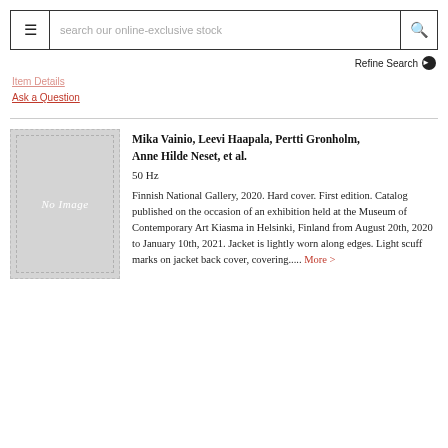≡  search our online-exclusive stock  🔍
Refine Search
Item Details
Ask a Question
[Figure (illustration): No Image placeholder thumbnail for a book]
Mika Vainio, Leevi Haapala, Pertti Gronholm, Anne Hilde Neset, et al.
50 Hz
Finnish National Gallery, 2020. Hard cover. First edition. Catalog published on the occasion of an exhibition held at the Museum of Contemporary Art Kiasma in Helsinki, Finland from August 20th, 2020 to January 10th, 2021. Jacket is lightly worn along edges. Light scuff marks on jacket back cover, covering..... More >